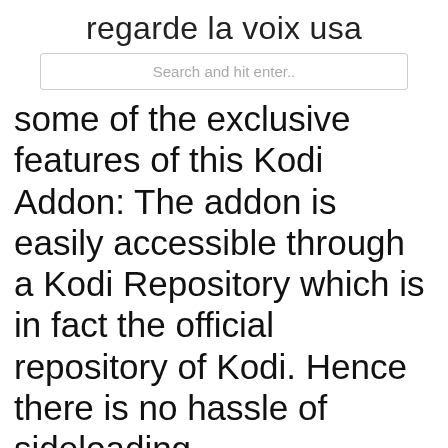regarde la voix usa
Search and hit enter..
some of the exclusive features of this Kodi Addon: The addon is easily accessible through a Kodi Repository which is in fact the official repository of Kodi. Hence there is no hassle of sideloading.
PVR (Personal Video Recorder) IPTV Simple Client este un instrument foarte util pentru utilizatorii Kodi care le permite să vizioneze televiziuni live și să asculte radioul de internet. Acesta funcționează permițându-i să-și încarce lista lor M3U direct pe dispozitivul pe care îl executați Kodi, fie că este vorba despre Amazon Fire TV Stick, Windows PC, Mac, Android, sau despre IPTV simple client est un PVR addon de base pour XBMC actions à recevoir IPTV en direct TV, chaînes de radio, et EPG directement dans XBMC. Il ajoute le support pour l'observation de la télévision en direct et TV